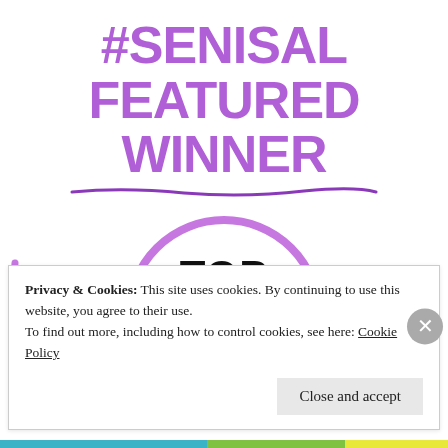#SENISAL FEATURED WINNER
[Figure (illustration): A purple circle badge with bold black text reading TOP #SENISAL FEATURED WINNER]
Privacy & Cookies: This site uses cookies. By continuing to use this website, you agree to their use.
To find out more, including how to control cookies, see here: Cookie Policy
Close and accept